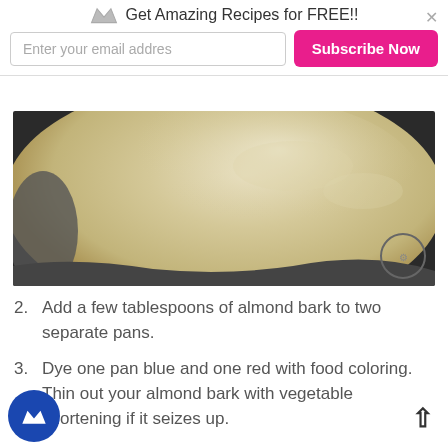Get Amazing Recipes for FREE!!
[Figure (photo): Close-up photo of melted almond bark (cream/beige colored) in a pan, with a small watermark icon in the bottom right corner.]
2. Add a few tablespoons of almond bark to two separate pans.
3. Dye one pan blue and one red with food coloring. Thin out your almond bark with vegetable shortening if it seizes up.
4. Line a cookie sheet with wax paper.
5. Break up pretzels and line the bottom of your cookie sheet with them.